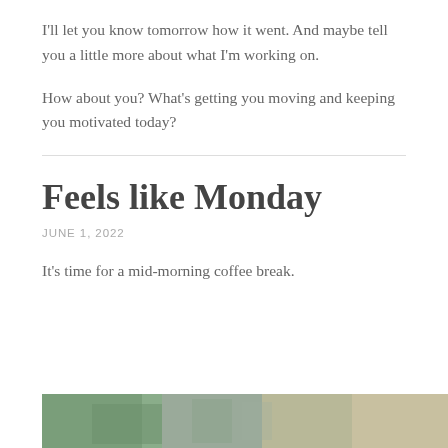I'll let you know tomorrow how it went. And maybe tell you a little more about what I'm working on.
How about you? What's getting you moving and keeping you motivated today?
Feels like Monday
JUNE 1, 2022
It's time for a mid-morning coffee break.
[Figure (photo): Partial photo visible at bottom of page, appears to show an outdoor scene with greenery]